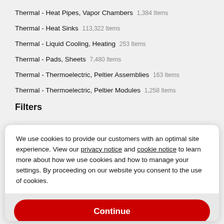Thermal - Heat Pipes, Vapor Chambers  1,384 Items
Thermal - Heat Sinks  113,322 Items
Thermal - Liquid Cooling, Heating  253 Items
Thermal - Pads, Sheets  7,480 Items
Thermal - Thermoelectric, Peltier Assemblies  163 Items
Thermal - Thermoelectric, Peltier Modules  1,258 Items
Filters
We use cookies to provide our customers with an optimal site experience. View our privacy notice and cookie notice to learn more about how we use cookies and how to manage your settings. By proceeding on our website you consent to the use of cookies.
Continue
Exit
Privacy Notice